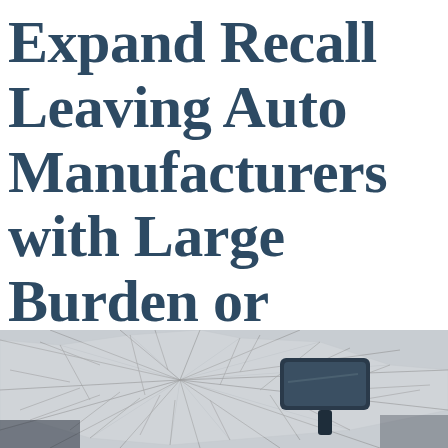Expand Recall Leaving Auto Manufacturers with Large Burden or Penalties
[Figure (photo): Close-up photo of a shattered car windshield with a rearview mirror visible, showing cracked glass pattern in grayscale]